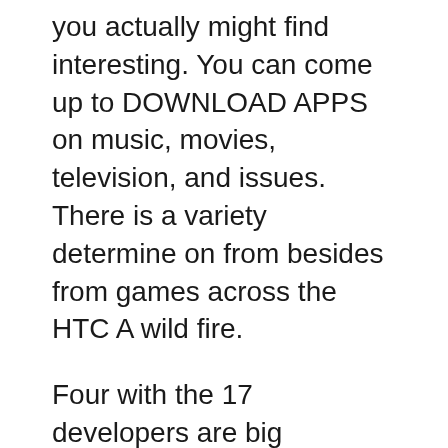you actually might find interesting. You can come up to DOWNLOAD APPS on music, movies, television, and issues. There is a variety determine on from besides from games across the HTC A wild fire.
Four with the 17 developers are big multinational companies — Apple itself (Texas Hold'em), Ea (TETRIS, Monopoly), Activision (Crash Bandicoot) and SEGA (Super Monkey Ball). Then you will find bunch of mid-sized companies and, happily, also 7 small groups and 4 individuals.
Exchange for TouchDown: is often a popular Microsoft Exchange with Active-sync push technology (mobile data synchronization technology) which can be capable of auto